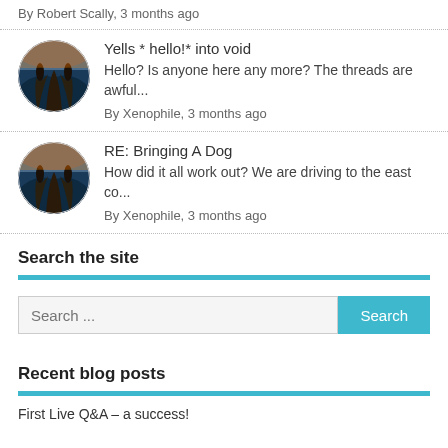By Robert Scally, 3 months ago
Yells * hello!* into void
Hello? Is anyone here any more? The threads are awful...
By Xenophile, 3 months ago
RE: Bringing A Dog
How did it all work out? We are driving to the east co...
By Xenophile, 3 months ago
Search the site
Search ...
Recent blog posts
First Live Q&A – a success!